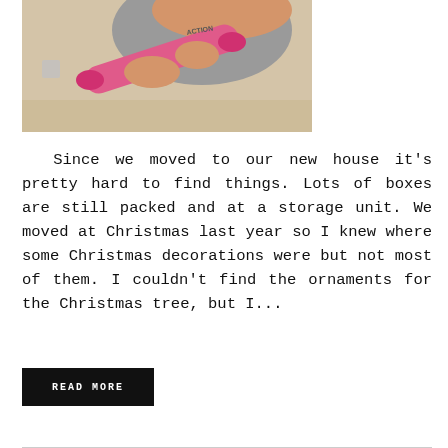[Figure (photo): A child using a pink rolling pin, wearing a gray t-shirt, photographed from above at a table.]
Since we moved to our new house it's pretty hard to find things. Lots of boxes are still packed and at a storage unit. We moved at Christmas last year so I knew where some Christmas decorations were but not most of them. I couldn't find the ornaments for the Christmas tree, but I...
READ MORE